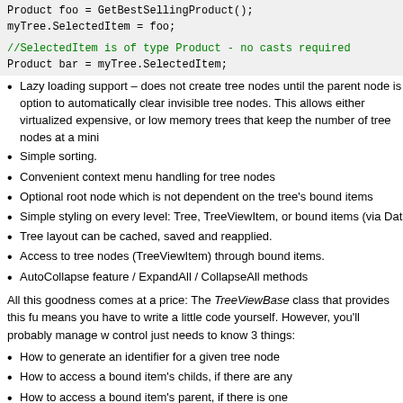[Figure (screenshot): Code snippet showing: Product foo = GetBestSellingProduct(); myTree.SelectedItem = foo; //SelectedItem is of type Product - no casts required (green comment) Product bar = myTree.SelectedItem;]
Lazy loading support – does not create tree nodes until the parent node is option to automatically clear invisible tree nodes. This allows either virtualized expensive, or low memory trees that keep the number of tree nodes at a mini
Simple sorting.
Convenient context menu handling for tree nodes
Optional root node which is not dependent on the tree's bound items
Simple styling on every level: Tree, TreeViewItem, or bound items (via Dat
Tree layout can be cached, saved and reapplied.
Access to tree nodes (TreeViewItem) through bound items.
AutoCollapse feature / ExpandAll / CollapseAll methods
All this goodness comes at a price: The TreeViewBase class that provides this fu means you have to write a little code yourself. However, you'll probably manage w control just needs to know 3 things:
How to generate an identifier for a given tree node
How to access a bound item's childs, if there are any
How to access a bound item's parent, if there is one
Here's the complete implementation of the sample application's tree control:
[Figure (screenshot): Code snippet showing: //a tree control that handles only ShopCategory objects (green comment) public class CategoryTree : TreeViewBase<ShopCategory> {]